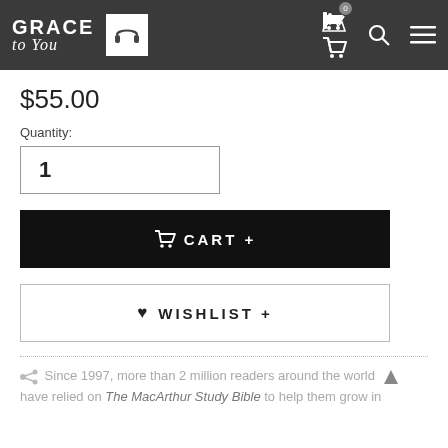GRACE to You — navigation header with headphone, cart, search, menu icons
$55.00
Quantity:
1
CART +
WISHLIST +
Since 1997, more than 2 million readers around the world have relied on The MacArthur Study Bible to help them grow in